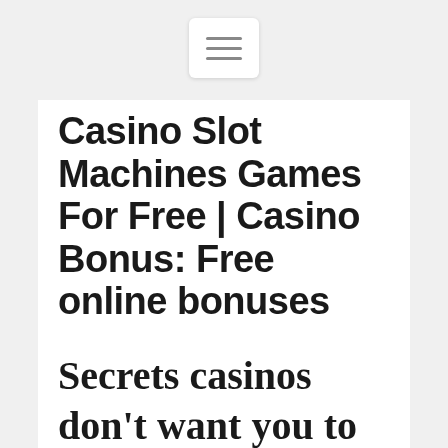[Figure (other): Hamburger menu navigation button with three horizontal lines]
Casino Slot Machines Games For Free | Casino Bonus: Free online bonuses
Secrets casinos don't want you to know
Goddess of life slot machine you probably